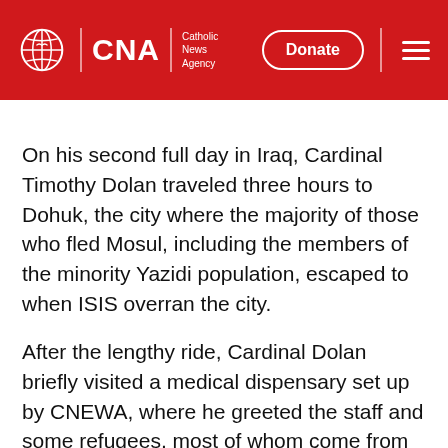CNA Catholic News Agency | Donate
On his second full day in Iraq, Cardinal Timothy Dolan traveled three hours to Dohuk, the city where the majority of those who fled Mosul, including the members of the minority Yazidi population, escaped to when ISIS overran the city.
After the lengthy ride, Cardinal Dolan briefly visited a medical dispensary set up by CNEWA, where he greeted the staff and some refugees, most of whom come from Mosul.
He then traveled to the Inishke village in the upper region of Dohuk where he concelebrated